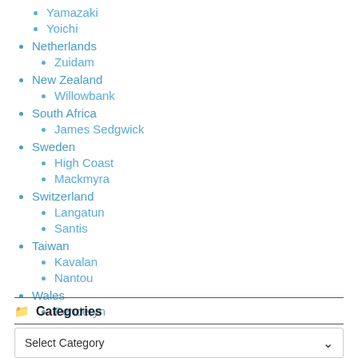Yamazaki
Yoichi
Netherlands
Zuidam
New Zealand
Willowbank
South Africa
James Sedgwick
Sweden
High Coast
Mackmyra
Switzerland
Langatun
Santis
Taiwan
Kavalan
Nantou
Wales
Penderyn
Categories
Select Category